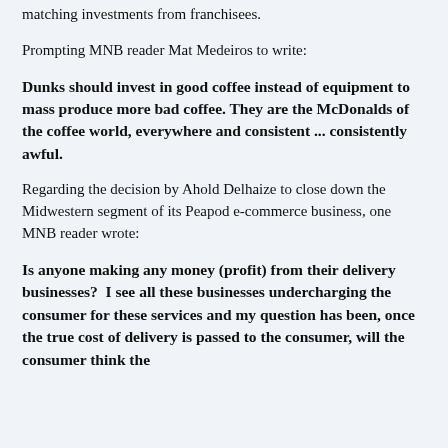matching investments from franchisees.
Prompting MNB reader Mat Medeiros to write:
Dunks should invest in good coffee instead of equipment to mass produce more bad coffee. They are the McDonalds of the coffee world, everywhere and consistent ... consistently awful.
Regarding the decision by Ahold Delhaize to close down the Midwestern segment of its Peapod e-commerce business, one MNB reader wrote:
Is anyone making any money (profit) from their delivery businesses?  I see all these businesses undercharging the consumer for these services and my question has been, once the true cost of delivery is passed to the consumer, will the consumer think the